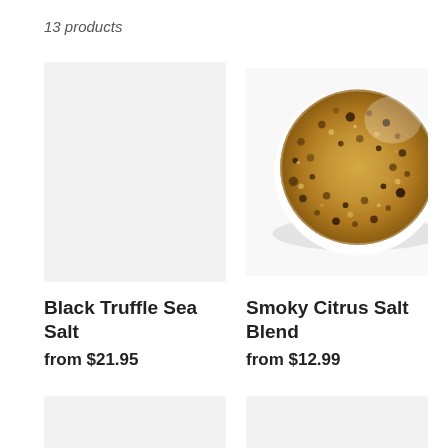13 products
[Figure (photo): Placeholder light gray image for Black Truffle Sea Salt product]
Black Truffle Sea Salt
from $21.95
[Figure (photo): Close-up photo of a bowl of smoky citrus salt blend — coarse golden/tan spice grains with dark flecks]
Smoky Citrus Salt Blend
from $12.99
[Figure (photo): Partial placeholder gray image at bottom-left]
[Figure (photo): Partial placeholder gray image at bottom-right]